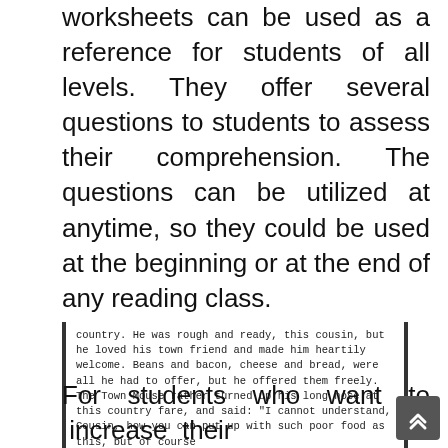worksheets can be used as a reference for students of all levels. They offer several questions to students to assess their comprehension. The questions can be utilized at anytime, so they could be used at the beginning or at the end of any reading class.
country. He was rough and ready, this cousin, but he loved his town friend and made him heartily welcome. Beans and bacon, cheese and bread, were all he had to offer, but he offered them freely. The Town Mouse rather turned up his long nose at this country fare, and said: "I cannot understand, Cousin, how you can put up with such poor food as this, but of course
For students who want to increase their